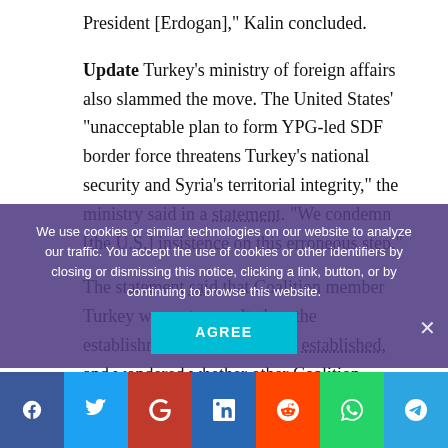President [Erdogan]," Kalin concluded.
Update Turkey’s ministry of foreign affairs also slammed the move. The United States’ “unacceptable plan to form YPG-led SDF border force threatens Turkey’s national security and Syria’s territorial integrity,” the ministry said in a statement. “We condemn [the U.S.] insistence on this erroneous step.”
The statement said that Coalition member Turkey was not consulted on the establishment of the BSF was established, and wondered whether other Coalition members approved the decision.
“To attribute such a uni... to the whole
We use cookies or similar technologies on our website to analyze our traffic. You accept the use of cookies or other identifiers by closing or dismissing this notice, clicking a link, button, or by continuing to browse this website.